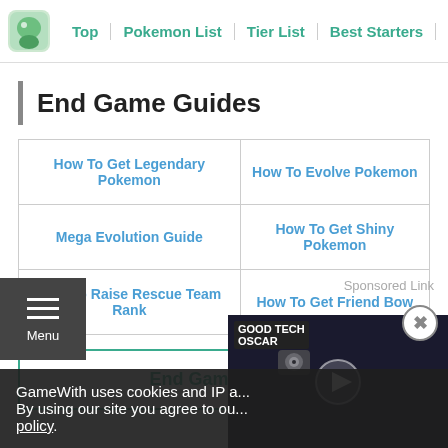Top | Pokemon List | Tier List | Best Starters | Main St...
End Game Guides
| How To Get Legendary Pokemon | How To Evolve Pokemon |
| Mega Evolution Guide | How To Get Shiny Pokemon |
| How To Raise Rescue Team Rank | How To Get Friend Bow |
End Game Guide
Sponsored Link
[Figure (screenshot): Video thumbnail showing a webcam product with a play button overlay and GoodTech Oscar logo]
GameWith uses cookies and IP a... By using our site you agree to ou... policy.